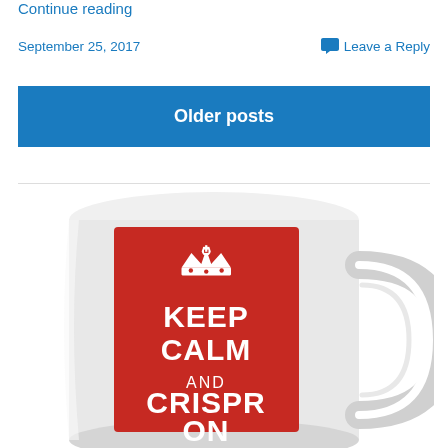Continue reading
September 25, 2017
Leave a Reply
Older posts
[Figure (photo): A white ceramic mug with a red panel showing a crown and the text 'KEEP CALM AND CRISPR ON' in white lettering. The mug has a handle on the right side.]